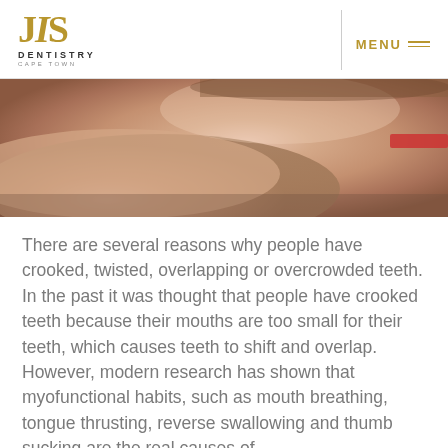JIS DENTISTRY CAPE TOWN | MENU
[Figure (photo): Close-up photo of a person's face resting on their hands, showing skin tones of peach and tan, with a partial view of a red strap or bracelet.]
There are several reasons why people have crooked, twisted, overlapping or overcrowded teeth. In the past it was thought that people have crooked teeth because their mouths are too small for their teeth, which causes teeth to shift and overlap. However, modern research has shown that myofunctional habits, such as mouth breathing, tongue thrusting, reverse swallowing and thumb sucking are the real causes of